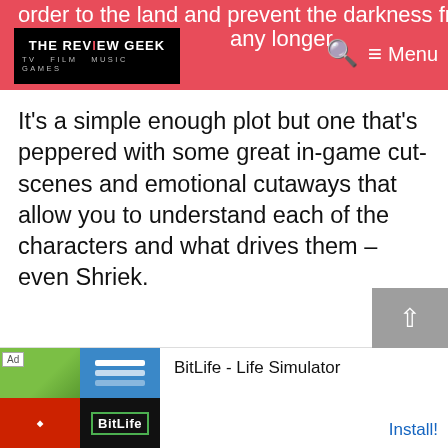order to the land and prevent the darkness from spreading any longer. [The Review Geek — TV FILM MUSIC GAMES] [Search] [Menu]
It's a simple enough plot but one that's peppered with some great in-game cut-scenes and emotional cutaways that allow you to understand each of the characters and what drives them – even Shriek.
[Figure (screenshot): Advertisement banner for BitLife - Life Simulator app showing colorful app icon images on the left and an Install! button on the right]